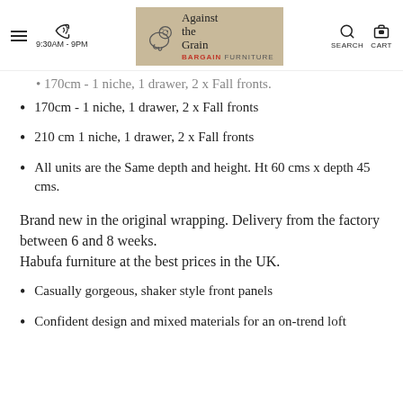Against the Grain Bargain Furniture — 9:30AM - 9PM — SEARCH — CART
170cm - 1 niche, 1 drawer, 2 x Fall fronts
210 cm 1 niche, 1 drawer, 2 x Fall fronts
All units are the Same depth and height. Ht 60 cms x depth 45 cms.
Brand new in the original wrapping. Delivery from the factory between 6 and 8 weeks.
Habufa furniture at the best prices in the UK.
Casually gorgeous, shaker style front panels
Confident design and mixed materials for an on-trend loft